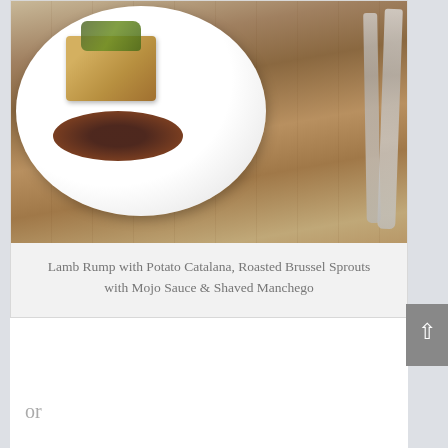[Figure (photo): A food photograph showing a plated dish on a white round plate with sauce and food items on a wooden table background, with cutlery visible to the right.]
Lamb Rump with Potato Catalana, Roasted Brussel Sprouts with Mojo Sauce & Shaved Manchego
or
Roasted organic chicken in green chermoula with saffron braised shallots celeriac puree & tarragon jus
or
Wild mushroom & pea paella cakes with